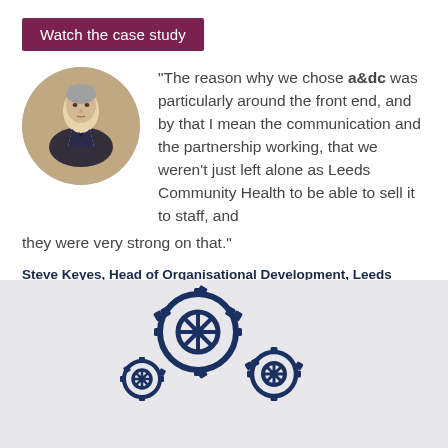Watch the case study
“The reason why we chose a&dc was particularly around the front end, and by that I mean the communication and the partnership working, that we weren’t just left alone as Leeds Community Health to be able to sell it to staff, and they were very strong on that.”
Steve Keyes, Head of Organisational Development, Leeds Community Healthcare NHS Trust
Watch the case study
[Figure (illustration): Interlocking gear cogs illustration in dark navy blue, partially visible at bottom of page]